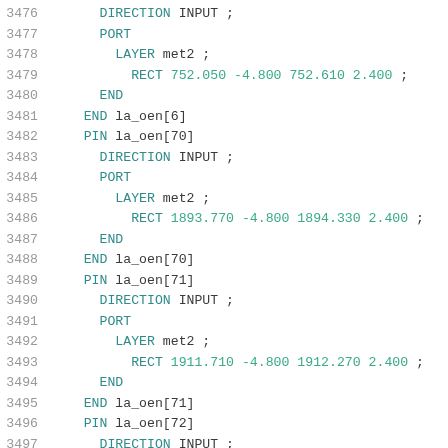Code listing lines 3476-3497: LEF/DEF pin definitions for la_oen[6], la_oen[70], la_oen[71], la_oen[72] with DIRECTION INPUT, PORT, LAYER met2, and RECT coordinates.